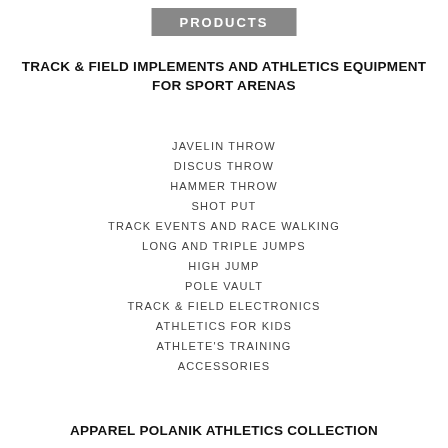PRODUCTS
TRACK & FIELD IMPLEMENTS AND ATHLETICS EQUIPMENT FOR SPORT ARENAS
JAVELIN THROW
DISCUS THROW
HAMMER THROW
SHOT PUT
TRACK EVENTS AND RACE WALKING
LONG AND TRIPLE JUMPS
HIGH JUMP
POLE VAULT
TRACK & FIELD ELECTRONICS
ATHLETICS FOR KIDS
ATHLETE'S TRAINING
ACCESSORIES
APPAREL POLANIK ATHLETICS COLLECTION